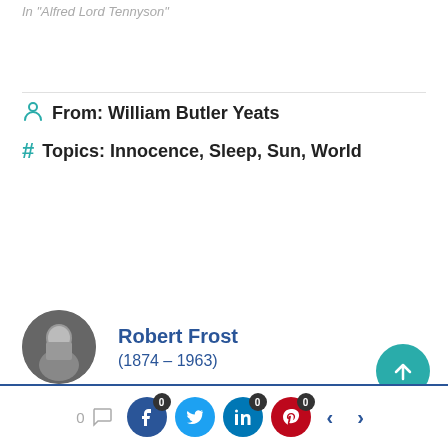In "Alfred Lord Tennyson"
From: William Butler Yeats
Topics: Innocence, Sleep, Sun, World
Robert Frost (1874 – 1963)
William Shakespeare